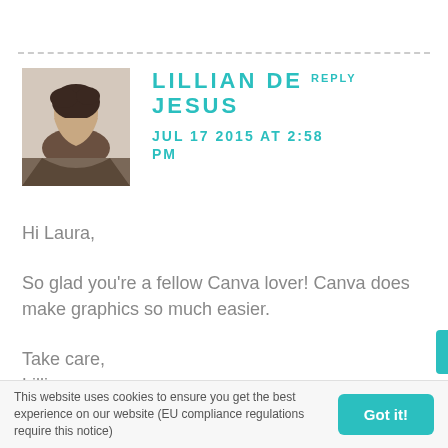LILLIAN DE JESUS REPLY
JUL 17 2015 AT 2:58 PM
Hi Laura,

So glad you're a fellow Canva lover! Canva does make graphics so much easier.

Take care,
Lillian
This website uses cookies to ensure you get the best experience on our website (EU compliance regulations require this notice)